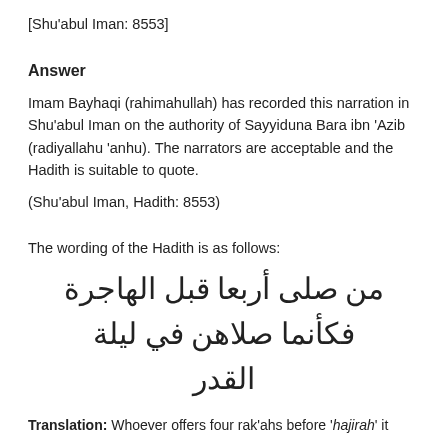[Shu'abul Iman: 8553]
Answer
Imam Bayhaqi (rahimahullah) has recorded this narration in Shu'abul Iman on the authority of Sayyiduna Bara ibn 'Azib (radiyallahu 'anhu). The narrators are acceptable and the Hadith is suitable to quote.
(Shu'abul Iman, Hadith: 8553)
The wording of the Hadith is as follows:
[Figure (other): Arabic text: من صلى أربعا قبل الهاجرة فكأنما صلاهن في ليلة القدر]
Translation: Whoever offers four rak'ahs before 'hajirah' it